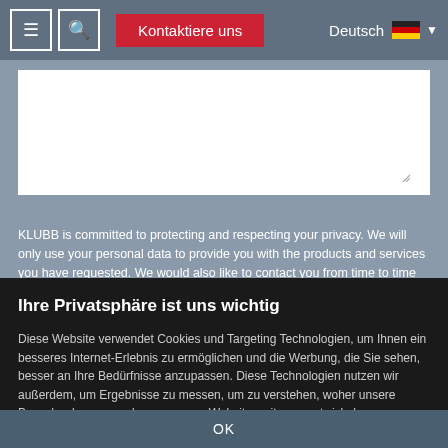≡ | 🔍 | Kontaktiere uns | Deutsch 🇩🇪 ▼
[Figure (screenshot): Text area input box on a grey/blue background]
KLUBB is committed to protecting and respecting your privacy. We will only use your personal data to provide you with the products and services you have requested. We would also like to contact you from time to time about our products and services and other content that may be interest you.
Ihre Privatsphäre ist uns wichtig
Diese Website verwendet Cookies und Targeting Technologien, um Ihnen ein besseres Internet-Erlebnis zu ermöglichen und die Werbung, die Sie sehen, besser an Ihre Bedürfnisse anzupassen. Diese Technologien nutzen wir außerdem, um Ergebnisse zu messen, um zu verstehen, woher unsere Besucher kommen oder um unsere Website weiter zu entwickeln.
OK